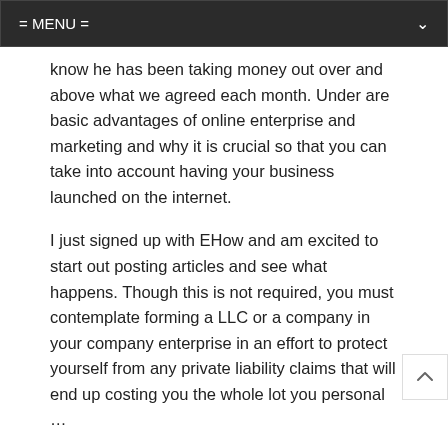= MENU =
know he has been taking money out over and above what we agreed each month. Under are basic advantages of online enterprise and marketing and why it is crucial so that you can take into account having your business launched on the internet.
I just signed up with EHow and am excited to start out posting articles and see what happens. Though this is not required, you must contemplate forming a LLC or a company in your company enterprise in an effort to protect yourself from any private liability claims that will end up costing you the whole lot you personal …
business article   benefits, diary, eight, journal, writing
Search here...
Recent Posts